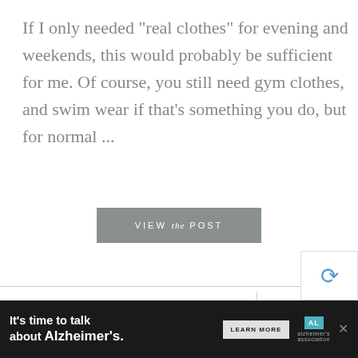If I only needed "real clothes" for evening and weekends, this would probably be sufficient for me. Of course, you still need gym clothes, and swim wear if that's something you do, but for normal ...
VIEW the POST
07.30.21
24 COMMENTS
TAGS: BEIGE, BLACK, NAVY, WARM WEATHER, WEEKLY TIMELESS WARDROBE
[Figure (infographic): Advertisement banner: 'It's time to talk about Alzheimer's.' with a Learn More button and Alzheimer's Association logo]